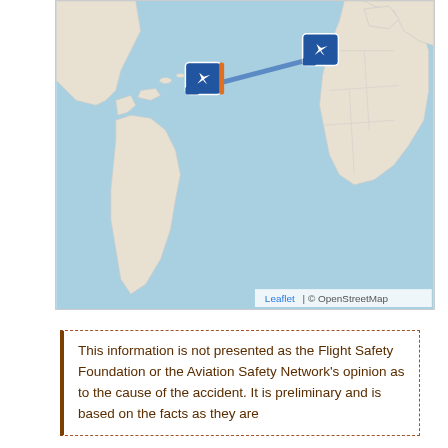[Figure (map): Interactive map showing Atlantic Ocean with two airplane markers connected by a blue line. One marker is near the eastern coast of the United States/Caribbean area, another marker is over the mid-Atlantic. South America, West Africa, and Europe are visible. Attribution: Leaflet | © OpenStreetMap]
This information is not presented as the Flight Safety Foundation or the Aviation Safety Network's opinion as to the cause of the accident. It is preliminary and is based on the facts as they are